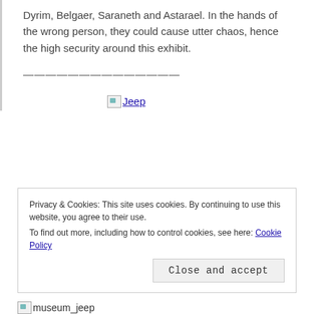Dyrim, Belgaer, Saraneth and Astarael. In the hands of the wrong person, they could cause utter chaos, hence the high security around this exhibit.
——————————————
[Figure (photo): Broken image placeholder with link text 'Jeep']
Privacy & Cookies: This site uses cookies. By continuing to use this website, you agree to their use.
To find out more, including how to control cookies, see here: Cookie Policy
Close and accept
[Figure (photo): Broken image placeholder with text 'museum_jeep']